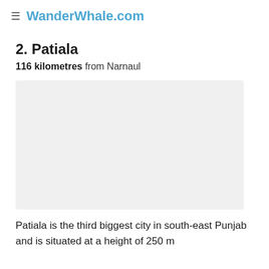≡ WanderWhale.com
2. Patiala
116 kilometres from Narnaul
[Figure (photo): Placeholder image for Patiala, light gray background]
Patiala is the third biggest city in south-east Punjab and is situated at a height of 250 m